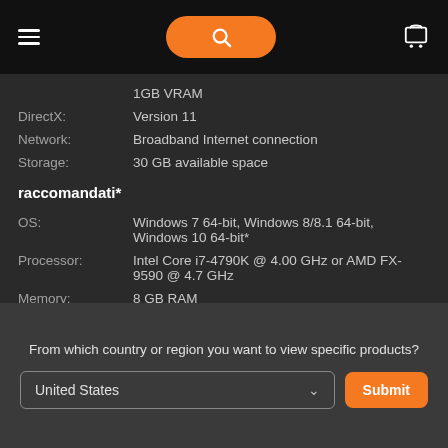Navigation header with hamburger menu, search button, and cart icon
|  |  |
| --- | --- |
|  | 1GB VRAM |
| DirectX: | Version 11 |
| Network: | Broadband Internet connection |
| Storage: | 30 GB available space |
raccomandati*
|  |  |
| --- | --- |
| OS: | Windows 7 64-bit, Windows 8/8.1 64-bit, Windows 10 64-bit* |
| Processor: | Intel Core i7-4790K @ 4.00 GHz or AMD FX-9590 @ 4.7 GHz |
| Memory: | 8 GB RAM |
| Graphics: | NVIDIA GeForce GTX 780 or AMD GPU Radeon R9 290 |
| DirectX: | Version 11 |
| Network: | Broadband Internet connection |
| Storage: | 30 GB available space |
From which country or region you want to view specific products?
United States
Submit